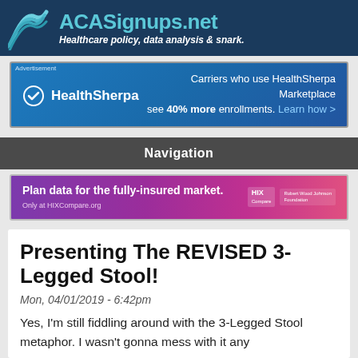ACASignups.net - Healthcare policy, data analysis & snark.
[Figure (screenshot): HealthSherpa advertisement banner: blue gradient background with HealthSherpa logo and text 'Carriers who use HealthSherpa Marketplace see 40% more enrollments. Learn how >']
Navigation
[Figure (screenshot): HIXCompare.org advertisement banner: purple/pink gradient with text 'Plan data for the fully-insured market. Only at HIXCompare.org' and HIX/Robert Wood Johnson Foundation logos]
Presenting The REVISED 3-Legged Stool!
Mon, 04/01/2019 - 6:42pm
Yes, I'm still fiddling around with the 3-Legged Stool metaphor. I wasn't gonna mess with it any